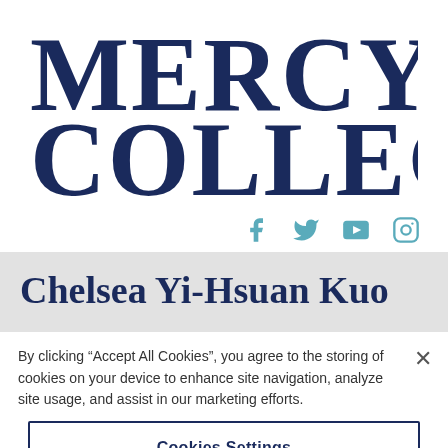[Figure (logo): Mercy College logo — large serif text reading MERCY COLLEGE in dark navy blue]
[Figure (infographic): Social media icons: Facebook, Twitter, YouTube, Instagram in teal/blue color]
Chelsea Yi-Hsuan Kuo
By clicking “Accept All Cookies”, you agree to the storing of cookies on your device to enhance site navigation, analyze site usage, and assist in our marketing efforts.
Cookies Settings
Reject All